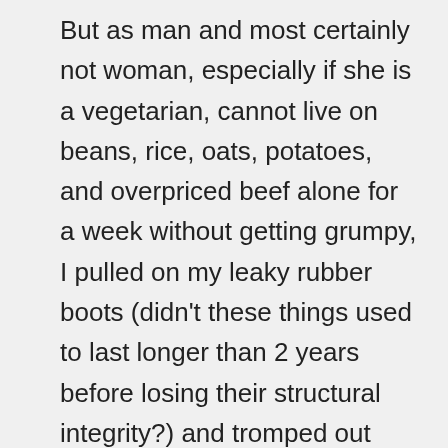But as man and most certainly not woman, especially if she is a vegetarian, cannot live on beans, rice, oats, potatoes, and overpriced beef alone for a week without getting grumpy, I pulled on my leaky rubber boots (didn't these things used to last longer than 2 years before losing their structural integrity?) and tromped out through the swamp that is our backyard when it rains too much and yanked up every remaining edible annual out of the ground.  That turned out to be about 10 sickly, heavily beetle-noshed leeks (that Spouse had been tasked with